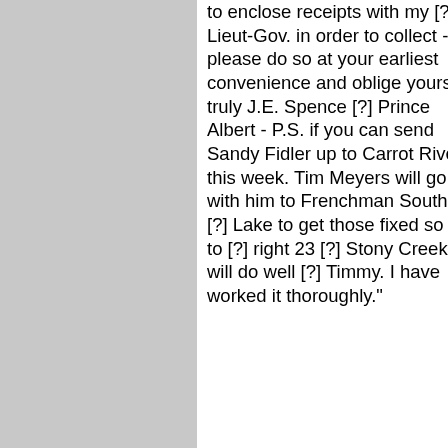to enclose receipts with my [?] to Lieut-Gov. in order to collect - please do so at your earliest convenience and oblige yours truly J.E. Spence [?] Prince Albert - P.S. if you can send Sandy Fidler up to Carrot River this week. Tim Meyers will go with him to Frenchman South of [?] Lake to get those fixed so as to [?] right 23 [?] Stony Creek will do well [?] Timmy. I have worked it thoroughly."